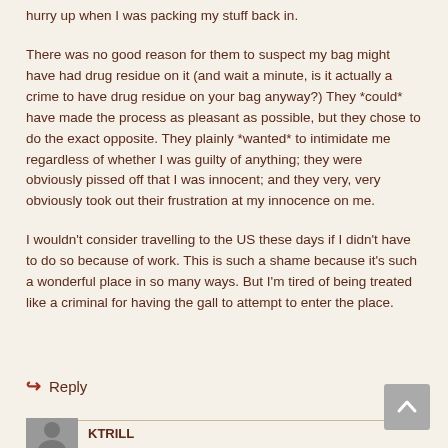hurry up when I was packing my stuff back in.
There was no good reason for them to suspect my bag might have had drug residue on it (and wait a minute, is it actually a crime to have drug residue on your bag anyway?) They *could* have made the process as pleasant as possible, but they chose to do the exact opposite. They plainly *wanted* to intimidate me regardless of whether I was guilty of anything; they were obviously pissed off that I was innocent; and they very, very obviously took out their frustration at my innocence on me.
I wouldn't consider travelling to the US these days if I didn't have to do so because of work. This is such a shame because it's such a wonderful place in so many ways. But I'm tired of being treated like a criminal for having the gall to attempt to enter the place.
↳ Reply